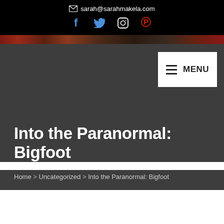sarah@sarahmakela.com
[Figure (screenshot): Social media icons: Facebook (blue), Twitter (blue), Instagram (circular outline), Pinterest (red)]
[Figure (photo): Narrow banner image strip with dark reddish tones]
[Figure (screenshot): Navigation menu button with hamburger icon and MENU text on white background]
Into the Paranormal: Bigfoot
Home > Uncategorized > Into the Paranormal: Bigfoot